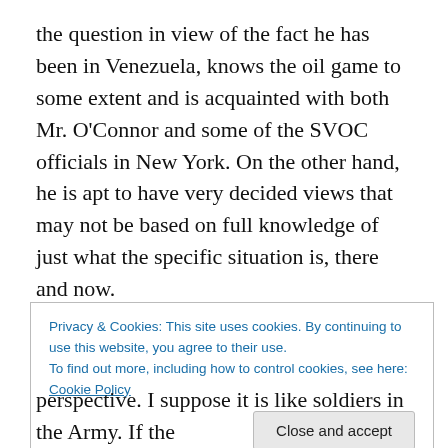the question in view of the fact he has been in Venezuela, knows the oil game to some extent and is acquainted with both Mr. O'Connor and some of the SVOC officials in New York. On the other hand, he is apt to have very decided views that may not be based on full knowledge of just what the specific situation is, there and now.
To sum it all up, I think you're wise in doing just what you are doing, get as many different viewpoints and slants on the thing from as many different sources as you can and then make your own decision.
Privacy & Cookies: This site uses cookies. By continuing to use this website, you agree to their use.
To find out more, including how to control cookies, see here: Cookie Policy
[Close and accept]
perspective. I suppose it is like soldiers in the Army. If the